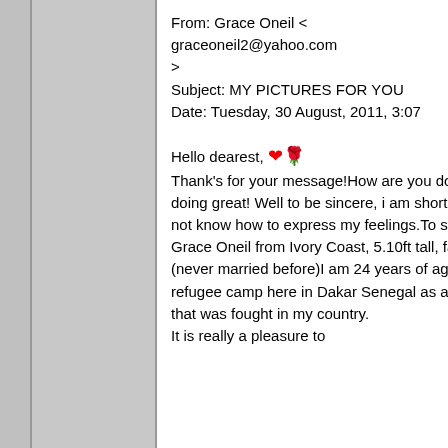From: Grace Oneil <graceoneil2@yahoo.com>
Subject: MY PICTURES FOR YOU
Date: Tuesday, 30 August, 2011, 3:07
Hello dearest, ❤️🌹 Thank's for your message!How are you doing? I hope you are doing great! Well to be sincere, i am short of words because i do not know how to express my feelings.To start with, My name is Grace Oneil from Ivory Coast, 5.10ft tall, fair in complexion, (never married before)I am 24 years of age residing in the refugee camp here in Dakar Senegal as a result of the civil war that was fought in my country. It is really a pleasure to